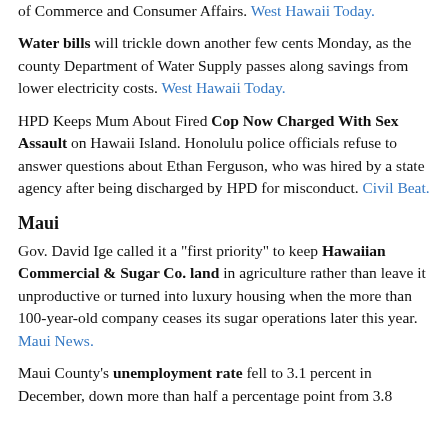of Commerce and Consumer Affairs. West Hawaii Today.
Water bills will trickle down another few cents Monday, as the county Department of Water Supply passes along savings from lower electricity costs. West Hawaii Today.
HPD Keeps Mum About Fired Cop Now Charged With Sex Assault on Hawaii Island. Honolulu police officials refuse to answer questions about Ethan Ferguson, who was hired by a state agency after being discharged by HPD for misconduct. Civil Beat.
Maui
Gov. David Ige called it a "first priority" to keep Hawaiian Commercial & Sugar Co. land in agriculture rather than leave it unproductive or turned into luxury housing when the more than 100-year-old company ceases its sugar operations later this year. Maui News.
Maui County's unemployment rate fell to 3.1 percent in December, down more than half a percentage point from 3.8